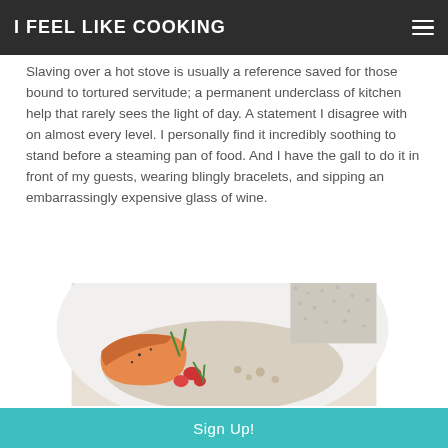I FEEL LIKE COOKING
Slaving over a hot stove is usually a reference saved for those bound to tortured servitude; a permanent underclass of kitchen help that rarely sees the light of day.  A statement I disagree with on almost every level. I personally find it incredibly soothing to stand before a steaming pan of food. And I have the gall to do it in front of my guests, wearing blingly bracelets, and sipping an embarrassingly expensive glass of wine.
[Figure (photo): A bowl with cooked salmon fillet topped with tomatoes and green onions on a creamy sauce, close-up food photography]
Sign Up!